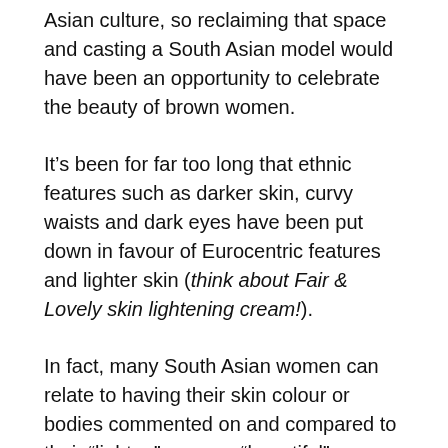Asian culture, so reclaiming that space and casting a South Asian model would have been an opportunity to celebrate the beauty of brown women.
It's been for far too long that ethnic features such as darker skin, curvy waists and dark eyes have been put down in favour of Eurocentric features and lighter skin (think about Fair & Lovely skin lightening cream!).
In fact, many South Asian women can relate to having their skin colour or bodies commented on and compared to their “lighter,” or more “beautiful” relatives.